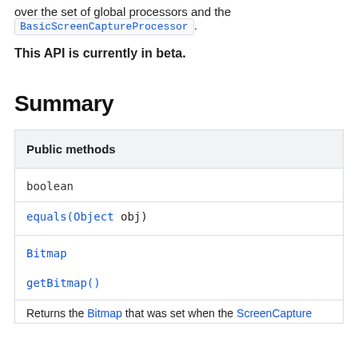over the set of global processors and the BasicScreenCaptureProcessor.
This API is currently in beta.
Summary
| Public methods |
| --- |
| boolean |  |
|  | equals(Object obj) |
| Bitmap |  |
|  | getBitmap() |
|  | Returns the Bitmap that was set when the ScreenCapture |